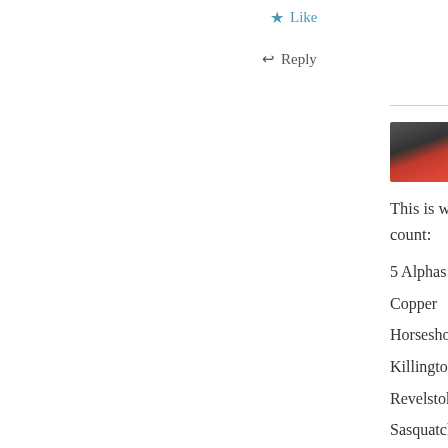★ Like
↩ Reply
PETER LANDSMAN
May 20, 2019 / 1:26 pm
This is where things stand by my count:
5 Alphas:
Copper
Horseshoe
Killington
Revelstoke
Sasquatch
4 Monarchs: